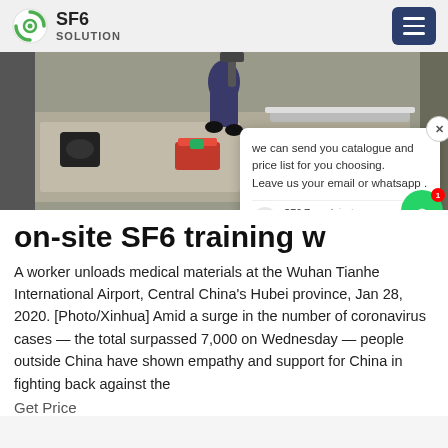SF6 SOLUTION
[Figure (photo): A worker unloading medical materials at what appears to be an airport or warehouse setting, viewed from above.]
on-site SF6 training w
A worker unloads medical materials at the Wuhan Tianhe International Airport, Central China's Hubei province, Jan 28, 2020. [Photo/Xinhua] Amid a surge in the number of coronavirus cases — the total surpassed 7,000 on Wednesday — people outside China have shown empathy and support for China in fighting back against the
Get Price